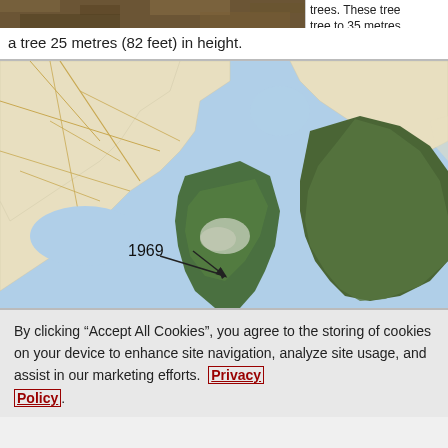[Figure (photo): Top portion of a photo showing ground/forest floor with leaves and soil, partially cut off at top]
trees. These trees tree to 35 metres locations, but it is
a tree 25 metres (82 feet) in height.
[Figure (map): Satellite/map hybrid image showing a coastal area with land and water (blue). A label '1969' with an arrow points to a specific location on the map. The map shows roads on the left portion and satellite imagery on the right portion showing vegetation.]
By clicking “Accept All Cookies”, you agree to the storing of cookies on your device to enhance site navigation, analyze site usage, and assist in our marketing efforts.  Privacy Policy.